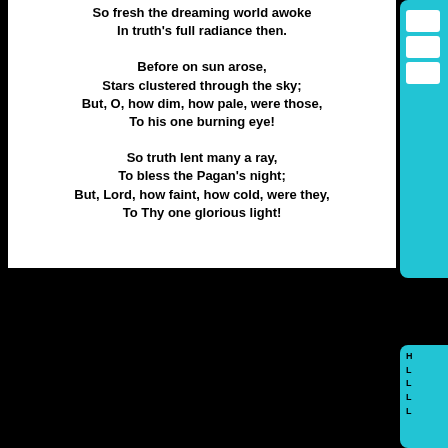So fresh the dreaming world awoke
In truth's full radiance then.

Before on sun arose,
Stars clustered through the sky;
But, O, how dim, how pale, were those,
To his one burning eye!

So truth lent many a ray,
To bless the Pagan's night;
But, Lord, how faint, how cold, were they,
To Thy one glorious light!